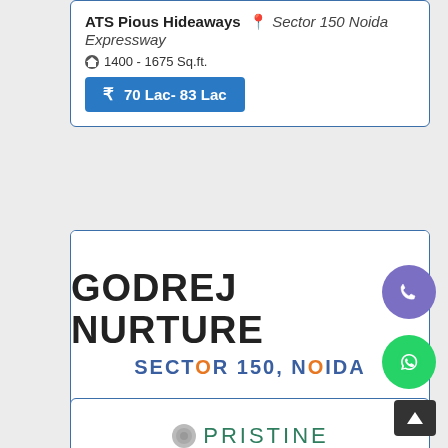ATS Pious Hideaways — Sector 150 Noida Expressway
1400 - 1675 Sq.ft.
70 Lac- 83 Lac
[Figure (logo): Godrej Nurture logo with text GODREJ NURTURE and SECTOR 150, NOIDA]
Godrej Nurture — Sector 150 Noida Expressway
1 - 6 Sq.ft.
56 Lac- 160 Lac
[Figure (logo): Pristine logo partially visible at bottom]